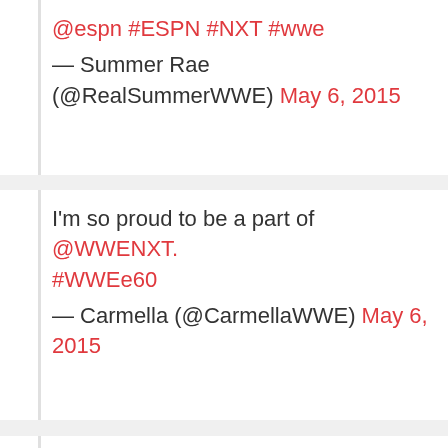@espn #ESPN #NXT #wwe
— Summer Rae (@RealSummerWWE) May 6, 2015
I'm so proud to be a part of @WWENXT. #WWEe60
— Carmella (@CarmellaWWE) May 6, 2015
... #WWE_60